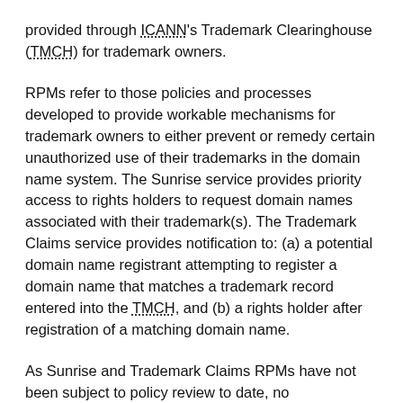provided through ICANN's Trademark Clearinghouse (TMCH) for trademark owners.
RPMs refer to those policies and processes developed to provide workable mechanisms for trademark owners to either prevent or remedy certain unauthorized use of their trademarks in the domain name system. The Sunrise service provides priority access to rights holders to request domain names associated with their trademark(s). The Trademark Claims service provides notification to: (a) a potential domain name registrant attempting to register a domain name that matches a trademark record entered into the TMCH, and (b) a rights holder after registration of a matching domain name.
As Sunrise and Trademark Claims RPMs have not been subject to policy review to date, no comprehensive, publicly available data currently exists that measures their effectiveness. By surveying the specific respondent groups identified by the ICANN community as most affected by Sunrise and Trademark